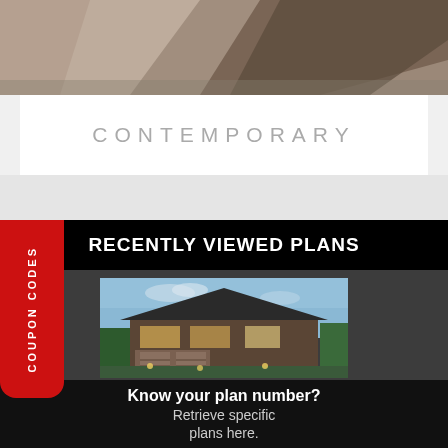[Figure (photo): Aerial or close-up photo of a contemporary building roof/facade with brown/tan tones]
CONTEMPORARY
RECENTLY VIEWED PLANS
[Figure (photo): Exterior rendering of a contemporary house plan with stone, wood siding, large windows, two-car garage, lit up at dusk]
Know your plan number?
Retrieve specific plans here.
COUPON CODES